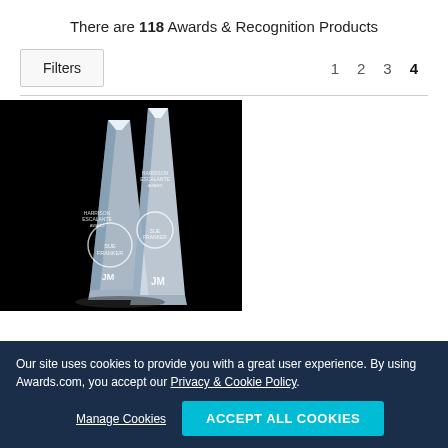There are 118 Awards & Recognition Products
Filters   1  2  3  4
[Figure (photo): Two crystal obelisk award trophies on black background, engraved with text including 'JM' logo]
Our site uses cookies to provide you with a great user experience. By using Awards.com, you accept our Privacy & Cookie Policy.
Manage Cookies
ACCEPT ALL COOKIES